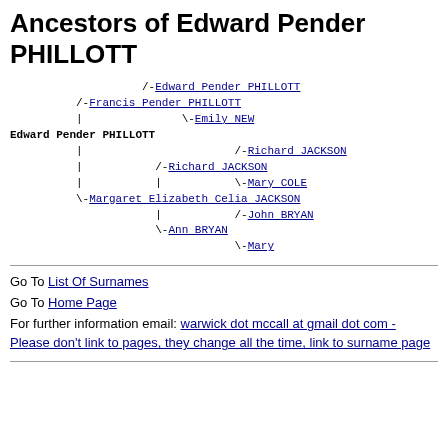Ancestors of Edward Pender PHILLOTT
[Figure (other): Genealogical ancestor tree for Edward Pender PHILLOTT showing ancestors: Francis Pender PHILLOTT, Edward Pender PHILLOTT, Emily NEW, Richard JACKSON (x2), Mary COLE, Margaret Elizabeth Celia JACKSON, John BRYAN, Ann BRYAN, Mary]
Go To List Of Surnames
Go To Home Page
For further information email: warwick dot mccall at gmail dot com - Please don't link to pages, they change all the time, link to surname page